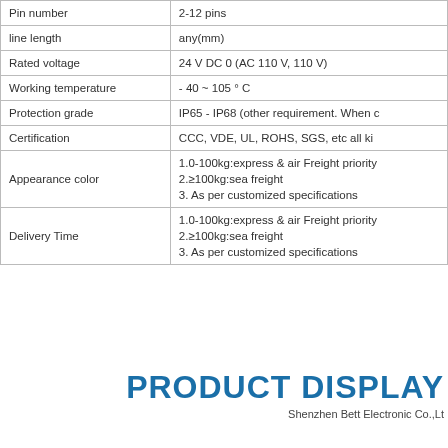| Property | Value |
| --- | --- |
| Pin number | 2-12 pins |
| line length | any(mm) |
| Rated voltage | 24 V DC 0 (AC 110 V, 110 V) |
| Working temperature | - 40 ~ 105 ° C |
| Protection grade | IP65 - IP68 (other requirement. When c… |
| Certification | CCC, VDE, UL, ROHS, SGS, etc all ki… |
| Appearance color | 1.0-100kg:express & air Freight priority
2.≥100kg:sea freight
3. As per customized specifications |
| Delivery Time | 1.0-100kg:express & air Freight priority
2.≥100kg:sea freight
3. As per customized specifications |
PRODUCT DISPLAY
Shenzhen Bett Electronic Co.,Lt…